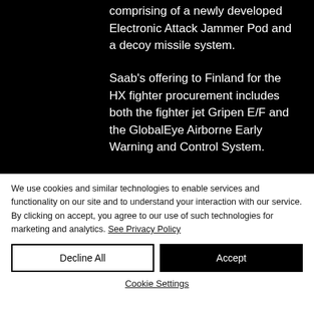comprising of a newly developed Electronic Attack Jammer Pod and a decoy missile system.

Saab's offering to Finland for the HX fighter procurement includes both the fighter jet Gripen E/F and the GlobalEye Airborne Early Warning and Control System.
We use cookies and similar technologies to enable services and functionality on our site and to understand your interaction with our service. By clicking on accept, you agree to our use of such technologies for marketing and analytics. See Privacy Policy
Decline All
Accept
Cookie Settings